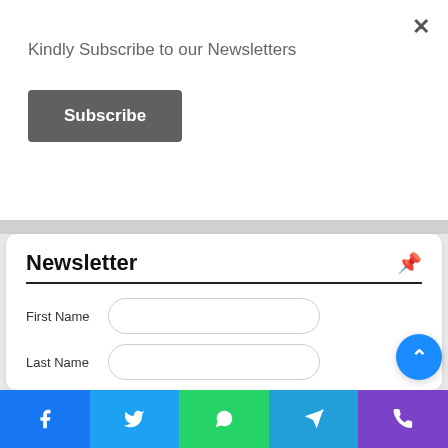×
Kindly Subscribe to our Newsletters
Subscribe
Newsletter
First Name
Last Name
Country
Afghanistan
First Name
Phone Number